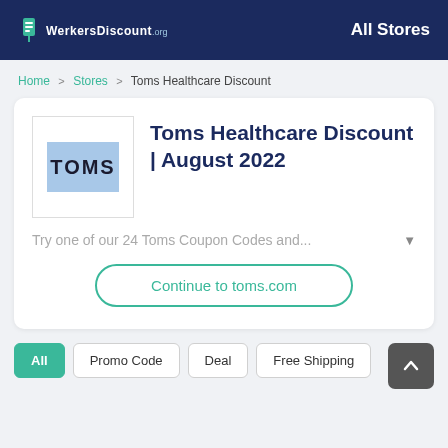WerkersDiscount.org | All Stores
Home > Stores > Toms Healthcare Discount
Toms Healthcare Discount | August 2022
Try one of our 24 Toms Coupon Codes and...
Continue to toms.com
All
Promo Code
Deal
Free Shipping